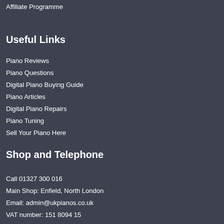Affiliate Programme
Useful Links
Piano Reviews
Piano Questions
Digital Piano Buying Guide
Piano Articles
Digital Piano Repairs
Piano Tuning
Sell Your Piano Here
Shop and Telephone
Call 01327 300 016
Main Shop: Enfield, North London
Email: admin@ukpianos.co.uk
VAT number: 151 8094 15